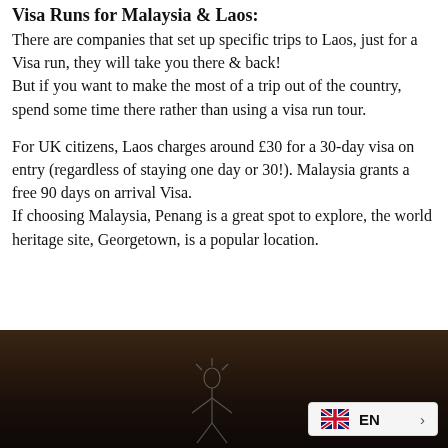Visa Runs for Malaysia & Laos:
There are companies that set up specific trips to Laos, just for a Visa run, they will take you there & back!
But if you want to make the most of a trip out of the country, spend some time there rather than using a visa run tour.
For UK citizens, Laos charges around £30 for a 30-day visa on entry (regardless of staying one day or 30!). Malaysia grants a free 90 days on arrival Visa.
If choosing Malaysia, Penang is a great spot to explore, the world heritage site, Georgetown, is a popular location.
[Figure (photo): Dark photograph with a sketch/illustration of a figure, with a language selector widget showing UK flag and EN label in the bottom right corner.]